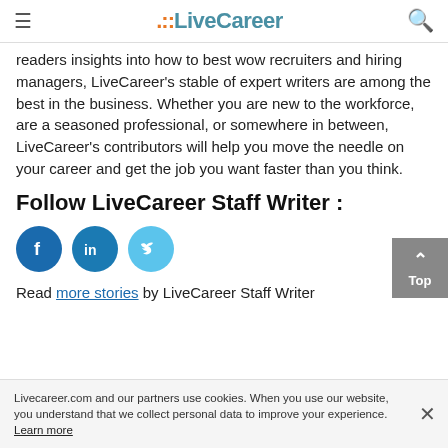LiveCareer
readers insights into how to best wow recruiters and hiring managers, LiveCareer's stable of expert writers are among the best in the business. Whether you are new to the workforce, are a seasoned professional, or somewhere in between, LiveCareer's contributors will help you move the needle on your career and get the job you want faster than you think.
Follow LiveCareer Staff Writer :
[Figure (illustration): Three social media icons: Facebook (dark blue circle with 'f'), LinkedIn (medium blue circle with 'in'), Twitter (light blue circle with bird icon)]
Read more stories by LiveCareer Staff Writer
Livecareer.com and our partners use cookies. When you use our website, you understand that we collect personal data to improve your experience. Learn more